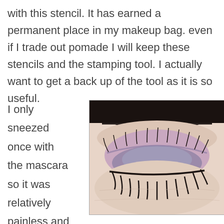with this stencil. It has earned a permanent place in my makeup bag. even if I trade out pomade I will keep these stencils and the stamping tool. I actually want to get a back up of the tool as it is so useful.
I only sneezed once with the mascara so it was relatively painless and I do like Eyeko. I set aside the new
[Figure (photo): Close-up photograph of a closed eye with purple/mauve eyeshadow applied, showing eyebrow and long eyelashes with mascara.]